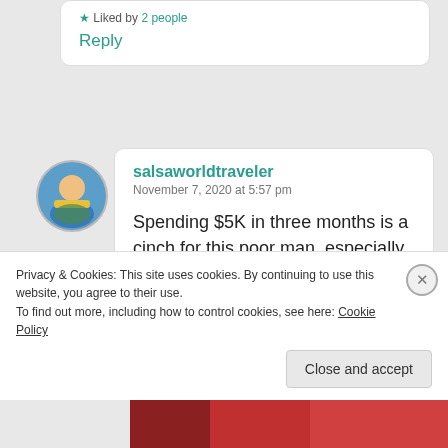Liked by 2 people
Reply
[Figure (photo): Circular avatar photo of a person wearing a yellow shirt outdoors]
salsaworldtraveler
November 7, 2020 at 5:57 pm
Spending $5K in three months is a cinch for this poor man, especially including mortgage.
Liked by 3 people
Reply
Privacy & Cookies: This site uses cookies. By continuing to use this website, you agree to their use.
To find out more, including how to control cookies, see here: Cookie Policy
Close and accept